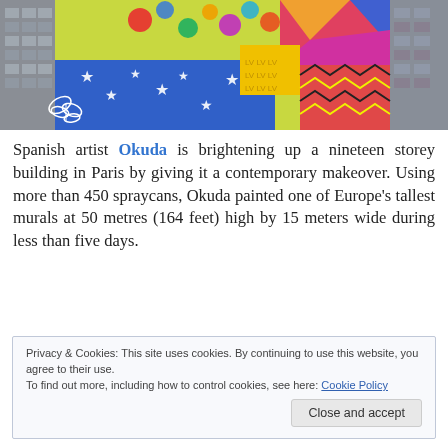[Figure (photo): Photograph looking up at a nineteen-storey building in Paris covered with a large colorful mural by Spanish artist Okuda, featuring geometric patterns, stars, polka dots, and bright colors against a grey sky. A white butterfly motif is visible at lower left.]
Spanish artist Okuda is brightening up a nineteen storey building in Paris by giving it a contemporary makeover. Using more than 450 spraycans, Okuda painted one of Europe's tallest murals at 50 metres (164 feet) high by 15 meters wide during less than five days.
Privacy & Cookies: This site uses cookies. By continuing to use this website, you agree to their use.
To find out more, including how to control cookies, see here: Cookie Policy
Close and accept